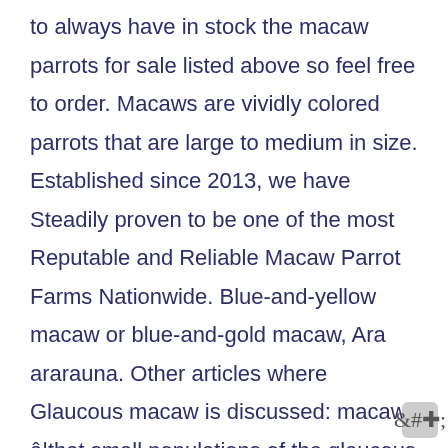to always have in stock the macaw parrots for sale listed above so feel free to order. Macaws are vividly colored parrots that are large to medium in size. Established since 2013, we have Steadily proven to be one of the most Reputable and Reliable Macaw Parrot Farms Nationwide. Blue-and-yellow macaw or blue-and-gold macaw, Ara ararauna. Other articles where Glaucous macaw is discussed: macaw: â€‌that small populations of the glaucous macaw (Anodorhynchus glaucus), which has been listed by the IUCN as a critically endangered species since 2000, continue to persist; the species was last observed in central South America in the 1960s, and several unconfirmed sightings of individuals have been